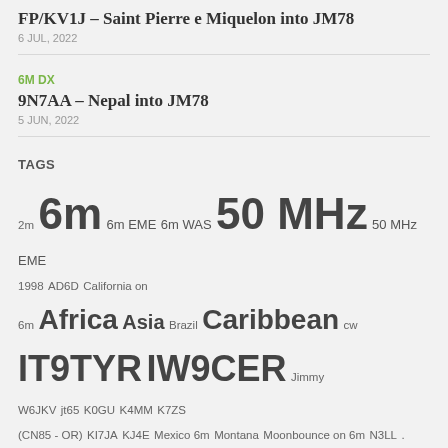FP/KV1J – Saint Pierre e Miquelon into JM78
6 JUL, 2022
6M DX
9N7AA – Nepal into JM78
5 JUN, 2022
TAGS
2m 6m 6m EME 6m WAS 50 MHz 50 MHz EME 1998 AD6D California on 6m Africa Asia Brazil Caribbean cw IT9TYR IW9CER Jimmy W6JKV jt65 K0GU K4MM K7ZS (CN85 - OR) KI7JA KJ4E Mexico 6m Montana Moonbounce on 6m N3LL . N6RV NN7J Oceania Pacific North West PY0FF PY5CC Rare country South America Sporadic E Texas USA USA 6m WAS VE7AG VE7NL VE7SL W6JKV W7GJ W7XU WAS